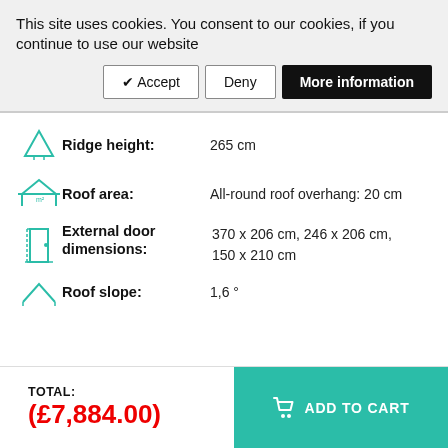This site uses cookies. You consent to our cookies, if you continue to use our website
✔ Accept | Deny | More information
Ridge height: 265 cm
Roof area: All-round roof overhang: 20 cm
External door dimensions: 370 x 206 cm, 246 x 206 cm, 150 x 210 cm
Roof slope: 1,6 °
TOTAL: (£7,884.00)
ADD TO CART